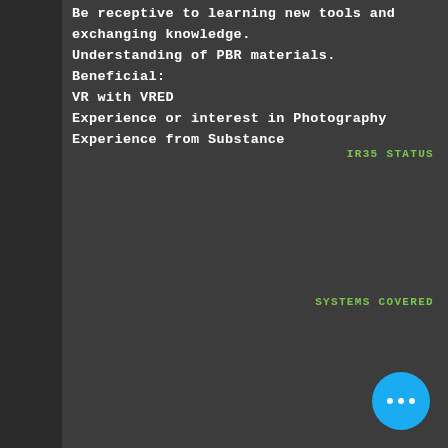Be receptive to learning new tools and exchanging knowledge.
Understanding of PBR materials.
Beneficial:
VR with VRED
Experience or interest in Photography
Experience from Substance
IR35 STATUS
SYSTEMS COVERED
[Figure (other): Blue circular floating action button with three white dots (more options icon)]